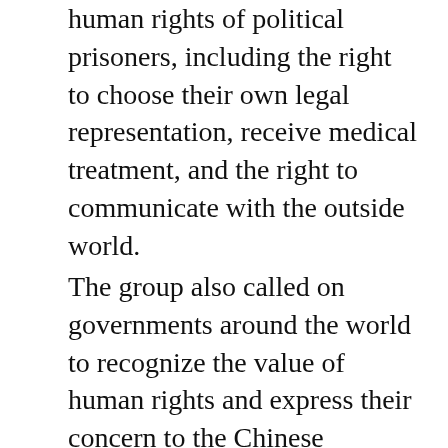human rights of political prisoners, including the right to choose their own legal representation, receive medical treatment, and the right to communicate with the outside world.
The group also called on governments around the world to recognize the value of human rights and express their concern to the Chinese authorities through official channels.
[Figure (screenshot): Partially visible overlay/popup with blurred/watermarked content showing a 'Please tip' button with a Ko-fi style cup icon in cyan/blue, and an X close button. Background shows faint text about media sources.]